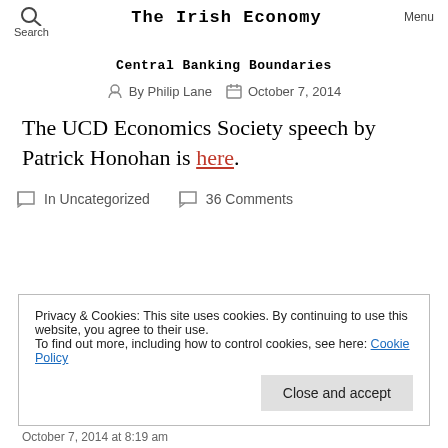Search  The Irish Economy  Menu
Central Banking Boundaries
By Philip Lane   October 7, 2014
The UCD Economics Society speech by Patrick Honohan is here.
In Uncategorized   36 Comments
Privacy & Cookies: This site uses cookies. By continuing to use this website, you agree to their use. To find out more, including how to control cookies, see here: Cookie Policy
Close and accept
October 7, 2014 at 8:19 am